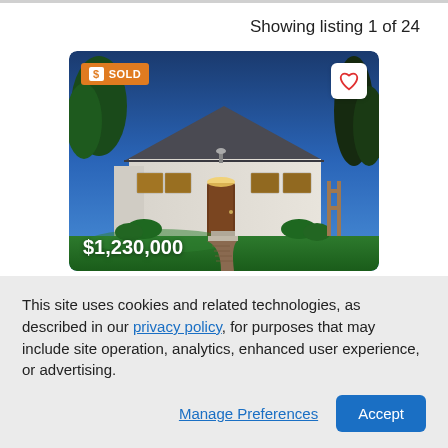Showing listing 1 of 24
[Figure (photo): Photo of a white single-story house with green lawn, brick walkway, and blue evening sky. Shows '$1,230,000' price label in bottom left, 'SOLD' badge in top left, and heart icon button in top right.]
This site uses cookies and related technologies, as described in our privacy policy, for purposes that may include site operation, analytics, enhanced user experience, or advertising.
Manage Preferences
Accept